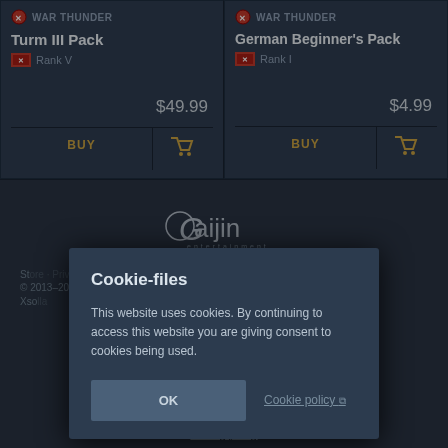WAR THUNDER — Turm III Pack — Rank V — $49.99 — BUY
WAR THUNDER — German Beginner's Pack — Rank I — $4.99 — BUY
[Figure (logo): Gaijin Entertainment logo in white/grey]
St...
© 2013–20...
Xso...
Cookie-files
This website uses cookies. By continuing to access this website you are giving consent to cookies being used.
OK
Cookie policy
Privacy policy